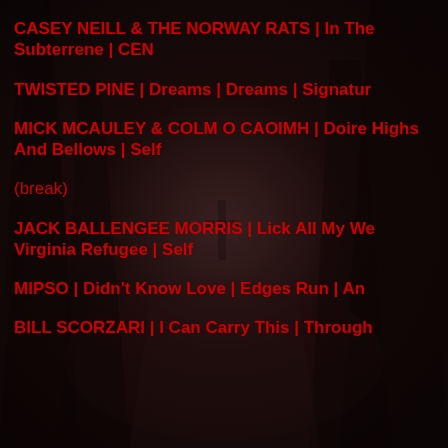CASEY NEILL & THE NORWAY RATS | In The Subterrene | CEN
TWISTED PINE | Dreams | Dreams | Signature
MICK MCAULEY & COLM O CAOIMH | Doirea Highs And Bellows | Self
(break)
JACK BALLENGEE MORRIS | Lick All My We Virginia Refugee | Self
MIPSO | Didn't Know Love | Edges Run | Ant
BILL SCORZARI | I Can Carry This | Through